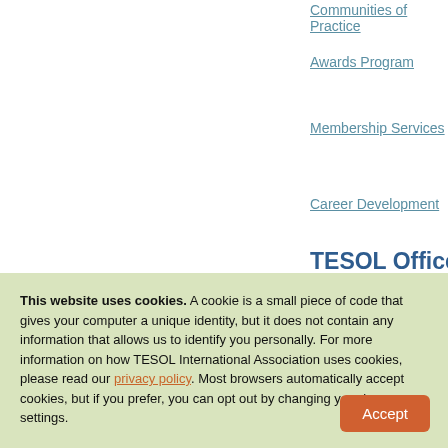Communities of Practice
Awards Program
Membership Services
Career Development
TESOL Office In
Mailing Address
1925 Ballenger Avenue, Suite 5
This website uses cookies. A cookie is a small piece of code that gives your computer a unique identity, but it does not contain any information that allows us to identify you personally. For more information on how TESOL International Association uses cookies, please read our privacy policy. Most browsers automatically accept cookies, but if you prefer, you can opt out by changing your browser settings.